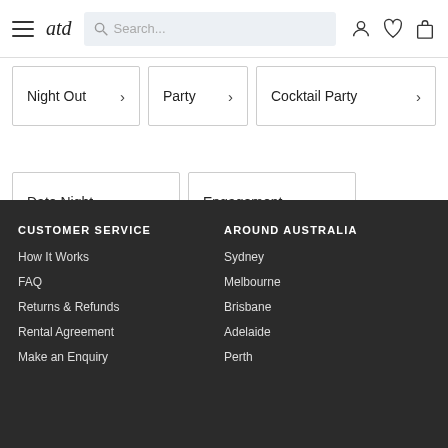atd — Search bar, user icon, wishlist icon, cart icon
Night Out >
Party >
Cocktail Party >
Date Night >
Engagement >
CUSTOMER SERVICE
How It Works
FAQ
Returns & Refunds
Rental Agreement
Make an Enquiry
AROUND AUSTRALIA
Sydney
Melbourne
Brisbane
Adelaide
Perth